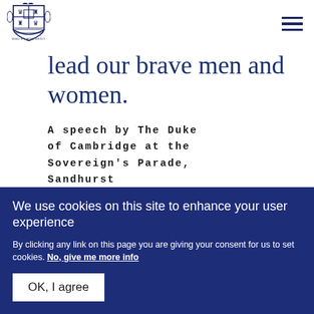[Figure (logo): UK Royal coat of arms logo in navy blue]
lead our brave men and women.
A speech by The Duke of Cambridge at the Sovereign's Parade, Sandhurst
We use cookies on this site to enhance your user experience
By clicking any link on this page you are giving your consent for us to set cookies. No, give me more info
OK, I agree